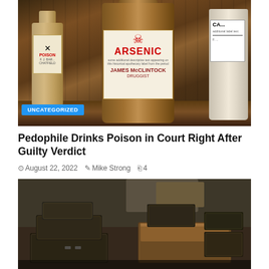[Figure (photo): Photograph of old apothecary poison bottles, including a prominent brown bottle labeled ARSENIC with a skull and crossbones, and a POISON bottle on the left. Labels mention James McClintock Druggist.]
UNCATEGORIZED
Pedophile Drinks Poison in Court Right After Guilty Verdict
August 22, 2022   Mike Strong   4
[Figure (photo): Photograph of old, weathered dark suitcases and trunks piled in a dimly lit, abandoned room with peeling walls.]